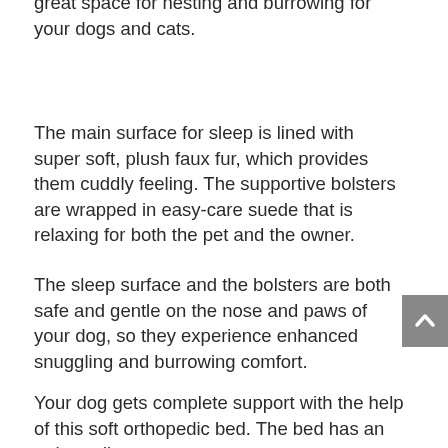great space for nesting and burrowing for your dogs and cats.
The main surface for sleep is lined with super soft, plush faux fur, which provides them cuddly feeling. The supportive bolsters are wrapped in easy-care suede that is relaxing for both the pet and the owner.
The sleep surface and the bolsters are both safe and gentle on the nose and paws of your dog, so they experience enhanced snuggling and burrowing comfort.
Your dog gets complete support with the help of this soft orthopedic bed. The bed has an orthopedic